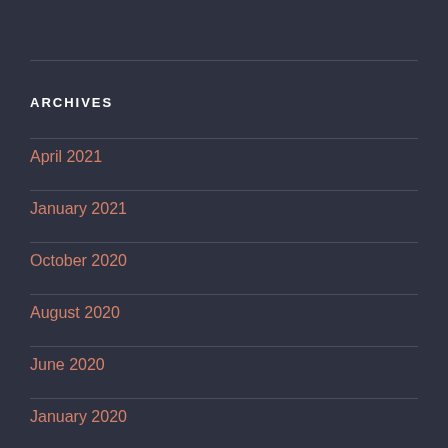ARCHIVES
April 2021
January 2021
October 2020
August 2020
June 2020
January 2020
December 2019